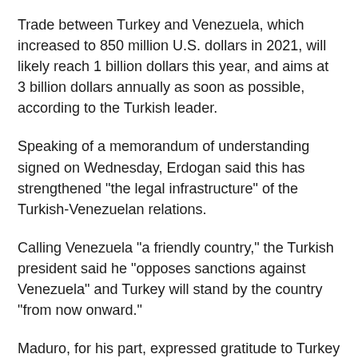Trade between Turkey and Venezuela, which increased to 850 million U.S. dollars in 2021, will likely reach 1 billion dollars this year, and aims at 3 billion dollars annually as soon as possible, according to the Turkish leader.
Speaking of a memorandum of understanding signed on Wednesday, Erdogan said this has strengthened "the legal infrastructure" of the Turkish-Venezuelan relations.
Calling Venezuela "a friendly country," the Turkish president said he "opposes sanctions against Venezuela" and Turkey will stand by the country "from now onward."
Maduro, for his part, expressed gratitude to Turkey on behalf of his people.